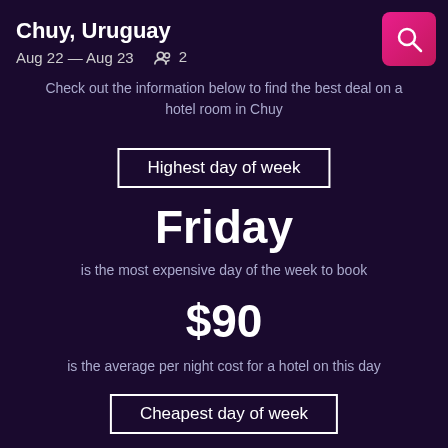Chuy, Uruguay
Aug 22 — Aug 23   2
Check out the information below to find the best deal on a hotel room in Chuy
Highest day of week
Friday
is the most expensive day of the week to book
$90
is the average per night cost for a hotel on this day
Cheapest day of week